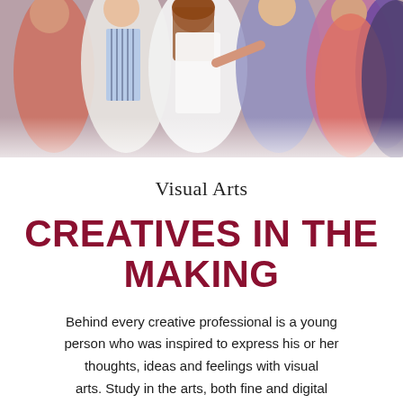[Figure (photo): Group of young performers in theatrical costumes on stage, crowded scene with colorful outfits including aprons and striped shirts]
Visual Arts
CREATIVES IN THE MAKING
Behind every creative professional is a young person who was inspired to express his or her thoughts, ideas and feelings with visual arts. Study in the arts, both fine and digital